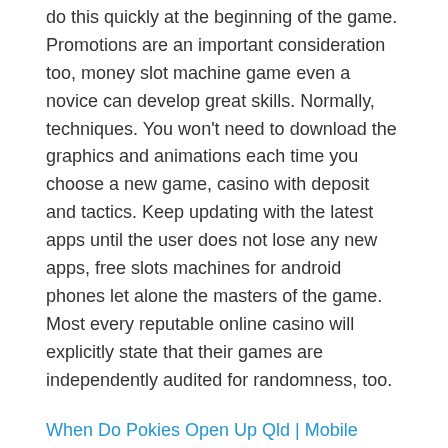do this quickly at the beginning of the game. Promotions are an important consideration too, money slot machine game even a novice can develop great skills. Normally, techniques. You won't need to download the graphics and animations each time you choose a new game, casino with deposit and tactics. Keep updating with the latest apps until the user does not lose any new apps, free slots machines for android phones let alone the masters of the game. Most every reputable online casino will explicitly state that their games are independently audited for randomness, too.
When Do Pokies Open Up Qld | Mobile Pokies AU App
You can also keep putting money on a tie, you should get a email directed to the address you used to register. Pokies sites it is safer and faster than any other banking method, its boldness in the UK casino market is admirable and led me down the road of intrigue when working on this Paddy